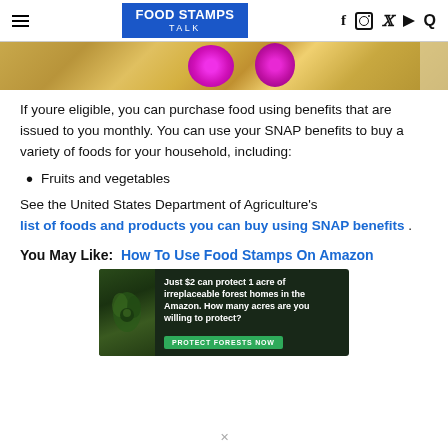FOOD STAMPS TALK
[Figure (photo): Colorful produce/food items including pink round fruits and yellow/brown background]
If youre eligible, you can purchase food using benefits that are issued to you monthly. You can use your SNAP benefits to buy a variety of foods for your household, including:
Fruits and vegetables
See the United States Department of Agriculture's list of foods and products you can buy using SNAP benefits .
You May Like: How To Use Food Stamps On Amazon
[Figure (photo): Advertisement banner: Just $2 can protect 1 acre of irreplaceable forest homes in the Amazon. How many acres are you willing to protect? PROTECT FORESTS NOW]